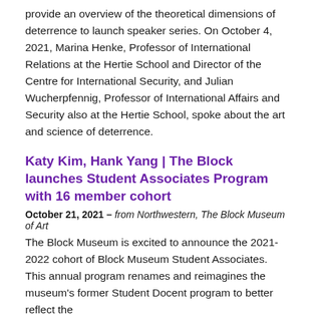provide an overview of the theoretical dimensions of deterrence to launch speaker series. On October 4, 2021, Marina Henke, Professor of International Relations at the Hertie School and Director of the Centre for International Security, and Julian Wucherpfennig, Professor of International Affairs and Security also at the Hertie School, spoke about the art and science of deterrence.
Katy Kim, Hank Yang | The Block launches Student Associates Program with 16 member cohort
October 21, 2021 – from Northwestern, The Block Museum of Art
The Block Museum is excited to announce the 2021-2022 cohort of Block Museum Student Associates. This annual program renames and reimagines the museum's former Student Docent program to better reflect the